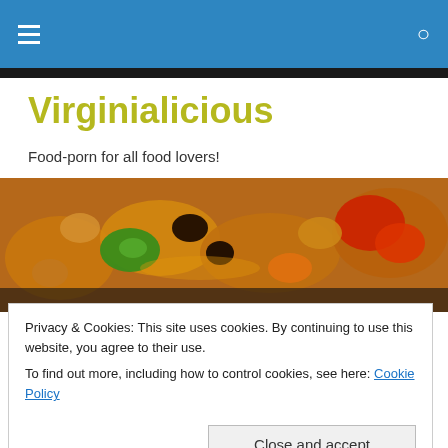Virginialicious [hamburger menu and search icon on blue header bar]
Virginialicious
Food-porn for all food lovers!
[Figure (photo): Close-up photo of Chinese sweet and sour stir-fry dish with green pepper, red pepper, carrots, and dark mushrooms in a glossy sauce.]
Privacy & Cookies: This site uses cookies. By continuing to use this website, you agree to their use.
To find out more, including how to control cookies, see here: Cookie Policy
Oh boy. Last weekend, we went up to NYC to get a couple